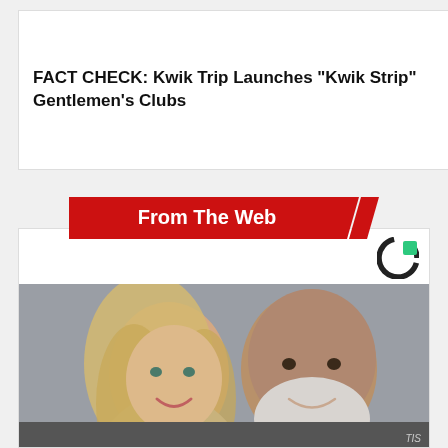FACT CHECK: Kwik Trip Launches "Kwik Strip" Gentlemen's Clubs
[Figure (photo): Thumbnail image of a building exterior for the Kwik Trip fact-check article]
From The Web
[Figure (logo): Taboola logo — stylized C shape in black and green]
[Figure (photo): Photo of a smiling blonde woman and an older man with a white beard, side by side]
The Horrifying Truth About CBD
Ad by Tommy Chong